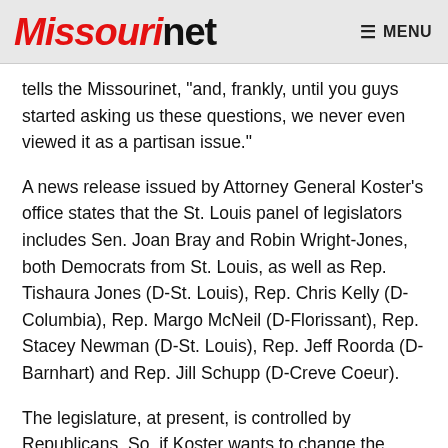Missourinet  MENU
tells the Missourinet, “and, frankly, until you guys started asking us these questions, we never even viewed it as a partisan issue.”
A news release issued by Attorney General Koster’s office states that the St. Louis panel of legislators includes Sen. Joan Bray and Robin Wright-Jones, both Democrats from St. Louis, as well as Rep. Tishaura Jones (D-St. Louis), Rep. Chris Kelly (D-Columbia), Rep. Margo McNeil (D-Florissant), Rep. Stacey Newman (D-St. Louis), Rep. Jeff Roorda (D-Barnhart) and Rep. Jill Schupp (D-Creve Coeur).
The legislature, at present, is controlled by Republicans. So, if Koster wants to change the laws, he’ll have to win Republican support.